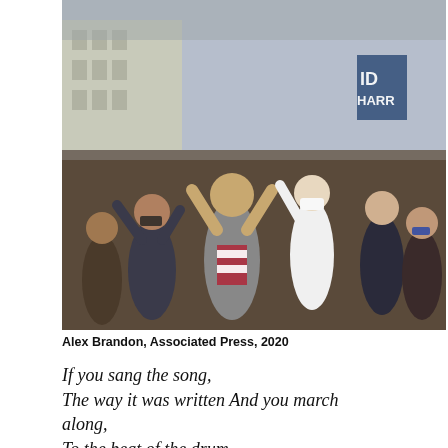[Figure (photo): Crowd of people celebrating outdoors, many with arms raised, one person in center wearing a white mask, Biden-Harris campaign signs visible in background]
Alex Brandon, Associated Press, 2020
If you sang the song,

The way it was written And you march along,

To the beat of the drum

Someday soon, you gonna wake up singin'

Battle is over, but the war goes on